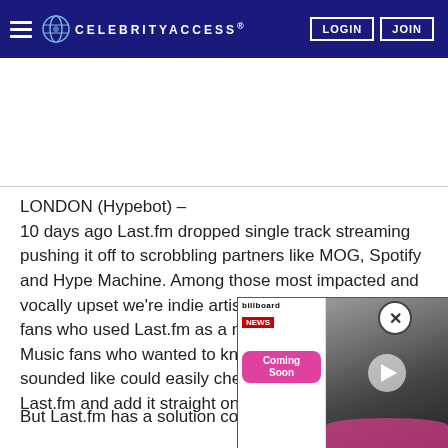CELEBRITYACCESS. LOGIN JOIN
LONDON (Hypebot) –
10 days ago Last.fm dropped single track streaming pushing it off to scrobbling partners like MOG, Spotify and Hype Machine. Among those most impacted and vocally upset we're indie artists who had been gaining fans who used Last.fm as a music discovery platform. Music fans who wanted to know what Band XYZ sounded like could easily check out a full track on [Last.fm and add it] straight onto their playlist. Not [anymore]
But Last.fm has a solution com[ing...]
[Figure (screenshot): Billboard News popup overlay with Coming Soon badge and video player with play button, partially obscuring article text]